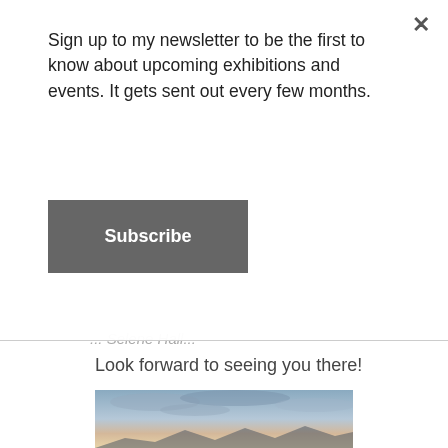Sign up to my newsletter to be the first to know about upcoming exhibitions and events. It gets sent out every few months.
Subscribe
... Selene Hall...
Look forward to seeing you there!
[Figure (photo): Landscape photo showing a sky with blue-grey clouds and mountains silhouetted at the bottom, with warm sunset tones near the horizon.]